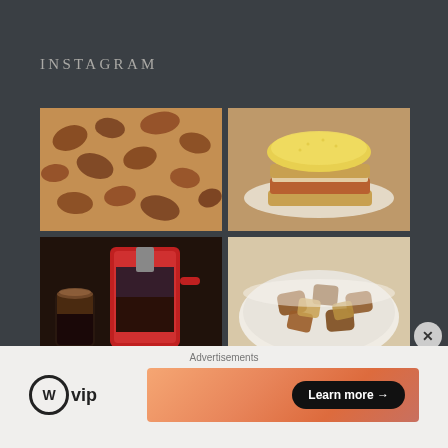INSTAGRAM
[Figure (photo): Top-left: overhead shot of cinnamon sugar coated baked bread pieces on a baking sheet]
[Figure (photo): Top-right: a layered egg and meat sandwich on toast on a white plate, on a rustic wooden surface]
[Figure (photo): Bottom-left: a red french press coffee maker with a glass of dark coffee]
[Figure (photo): Bottom-right: a white bowl filled with roasted or braised meat and potato chunks]
Advertisements
[Figure (logo): WordPress VIP logo — circle W mark with 'vip' text]
[Figure (other): Orange-gradient advertisement banner with 'Learn more →' button]